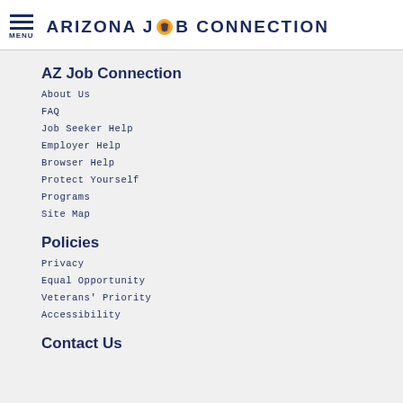ARIZONA JOB CONNECTION
AZ Job Connection
About Us
FAQ
Job Seeker Help
Employer Help
Browser Help
Protect Yourself
Programs
Site Map
Policies
Privacy
Equal Opportunity
Veterans' Priority
Accessibility
Contact Us